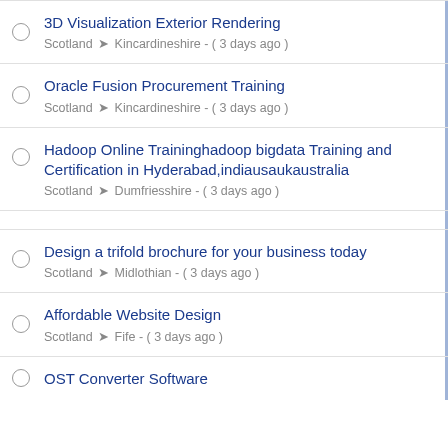3D Visualization Exterior Rendering
Scotland → Kincardineshire - ( 3 days ago )
Oracle Fusion Procurement Training
Scotland → Kincardineshire - ( 3 days ago )
Hadoop Online Traininghadoop bigdata Training and Certification in Hyderabad,indiausaukaustralia
Scotland → Dumfriesshire - ( 3 days ago )
Design a trifold brochure for your business today
Scotland → Midlothian - ( 3 days ago )
Affordable Website Design
Scotland → Fife - ( 3 days ago )
OST Converter Software